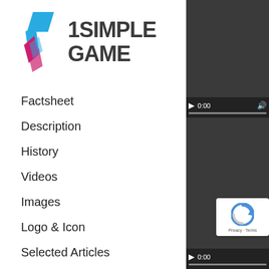[Figure (logo): 1 Simple Game logo — angular arrow/chevron shape in blue and magenta pink with bold dark text '1SIMPLE GAME']
Factsheet
Description
History
Videos
Images
Logo & Icon
Selected Articles
About 1 Simple Game
[Figure (screenshot): Video player panel (top) — dark background with play button, 0:00 timestamp, volume icon, and progress bar at bottom]
[Figure (screenshot): Video player panel (bottom) — dark background with reCAPTCHA overlay showing spinner icon and Privacy · Terms text, play button and 0:00 at bottom]